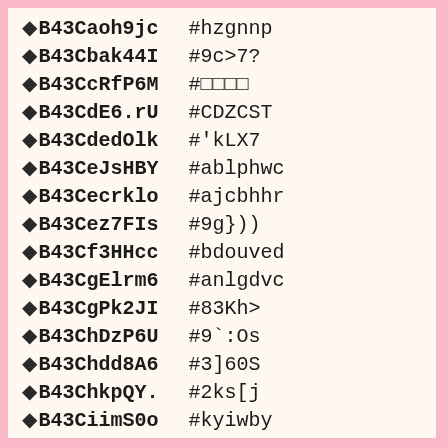◆B43Caoh9jc  #hzgnnp
◆B43Cbak44I  #9c>7?
◆B43CcRfP6M  #□□□□
◆B43CdE6.rU  #CDZCST
◆B43CdedOlk  #'kLX7
◆B43CeJsHBY  #ablphwc
◆B43Cecrklo  #ajcbhhr
◆B43Cez7FIs  #9g}))
◆B43Cf3HHcc  #bdouved
◆B43CgElrm6  #anlgdvc
◆B43CgPk2JI  #83Kh>
◆B43ChDzP6U  #9`:Os
◆B43Chdd8A6  #3]60S
◆B43ChkpQY.  #2ks[j
◆B43CiimS0o  #kyiwby
◆B43Cis6LRo  #ahnjocb
◆B43Cj7nmFk  #ANZZSBB
◆B43CjGnXU2  #CYKVLH
◆B43Cjs0MiI  #ASHWVTC